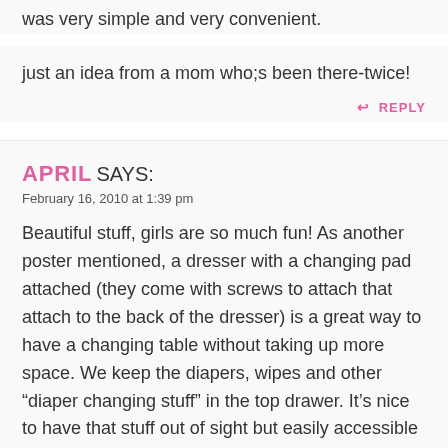was very simple and very convenient.
just an idea from a mom who;s been there-twice!
↩ REPLY
APRIL SAYS:
February 16, 2010 at 1:39 pm
Beautiful stuff, girls are so much fun! As another poster mentioned, a dresser with a changing pad attached (they come with screws to attach that attach to the back of the dresser) is a great way to have a changing table without taking up more space. We keep the diapers, wipes and other “diaper changing stuff” in the top drawer. It’s nice to have that stuff out of sight but easily accessible for